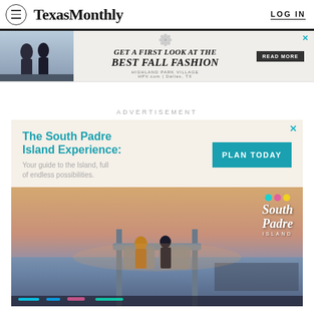Texas Monthly — LOG IN
[Figure (infographic): Highland Park Village advertisement: GET A FIRST LOOK AT THE BEST FALL FASHION — READ MORE]
ADVERTISEMENT
[Figure (infographic): South Padre Island Experience advertisement: The South Padre Island Experience: Your guide to the Island, full of endless possibilities. PLAN TODAY — with aerial sunset photo of two people on a carnival ride overlooking the ocean]